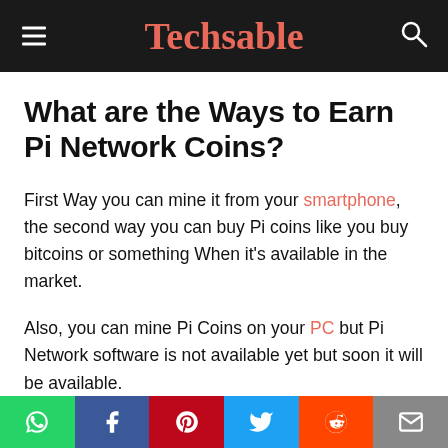Techsable
What are the Ways to Earn Pi Network Coins?
First Way you can mine it from your smartphone, the second way you can buy Pi coins like you buy bitcoins or something When it’s available in the market.
Also, you can mine Pi Coins on your PC but Pi Network software is not available yet but soon it will be available.
Pi Network Coin Future Cost?